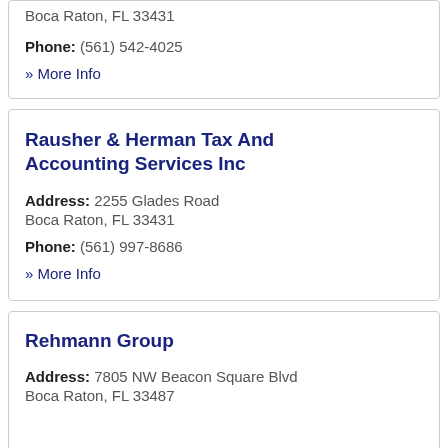Boca Raton, FL 33431
Phone: (561) 542-4025
» More Info
Rausher & Herman Tax And Accounting Services Inc
Address: 2255 Glades Road Boca Raton, FL 33431
Phone: (561) 997-8686
» More Info
Rehmann Group
Address: 7805 NW Beacon Square Blvd Boca Raton, FL 33487